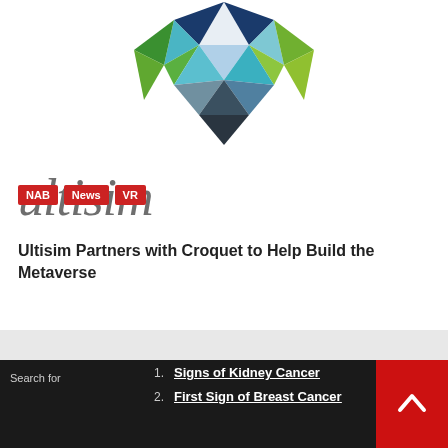[Figure (logo): Multisim geometric crystal/fox logo made of colored triangles (blue, green, teal, dark blue, white) forming a diamond/animal face shape, with the word 'multisim' in italic gray text beside/below it]
NAB  News  VR
Ultisim Partners with Croquet to Help Build the Metaverse
Search for
1. Signs of Kidney Cancer
2. First Sign of Breast Cancer